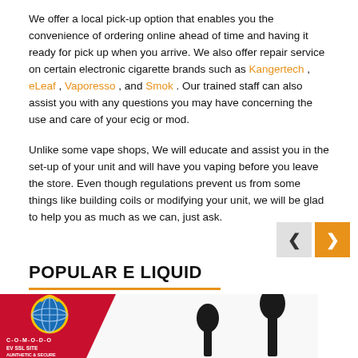We offer a local pick-up option that enables you the convenience of ordering online ahead of time and having it ready for pick up when you arrive. We also offer repair service on certain electronic cigarette brands such as Kangertech, eLeaf, Vaporesso, and Smok. Our trained staff can also assist you with any questions you may have concerning the use and care of your ecig or mod.
Unlike some vape shops, We will educate and assist you in the set-up of your unit and will have you vaping before you leave the store. Even though regulations prevent us from some things like building coils or modifying your unit, we will be glad to help you as much as we can, just ask.
POPULAR E LIQUID
[Figure (other): Product image area showing dropper bottles for e-liquid, with a Comodo EV SSL Site badge in the bottom left corner (red background with globe icon, text: C-O-M-O-D-O, EV SSL SITE, AUNTHETIC & SECURE)]